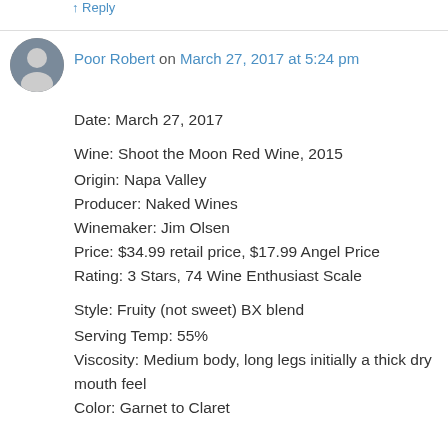↑ Reply
Poor Robert on March 27, 2017 at 5:24 pm
Date: March 27, 2017
Wine: Shoot the Moon Red Wine, 2015
Origin: Napa Valley
Producer: Naked Wines
Winemaker: Jim Olsen
Price: $34.99 retail price, $17.99 Angel Price
Rating: 3 Stars, 74 Wine Enthusiast Scale
Style: Fruity (not sweet) BX blend
Serving Temp: 55%
Viscosity: Medium body, long legs initially a thick dry mouth feel
Color: Garnet to Claret